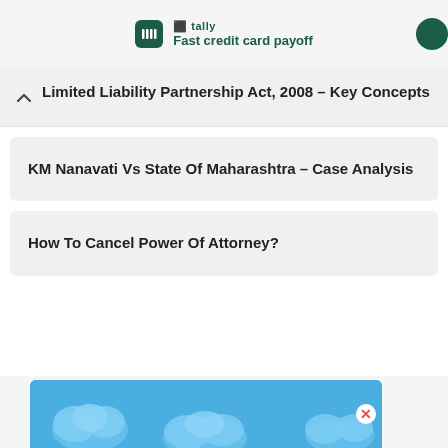[Figure (screenshot): Tally app advertisement banner with logo and 'Fast credit card payoff' tagline]
Limited Liability Partnership Act, 2008 – Key Concepts
KM Nanavati Vs State Of Maharashtra – Case Analysis
How To Cancel Power Of Attorney?
[Figure (illustration): Blue sky with cloud illustration — advertisement image at bottom of page]